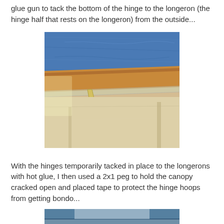glue gun to tack the bottom of the hinge to the longeron (the hinge half that rests on the longeron) from the outside...
[Figure (photo): Close-up photograph showing a wooden longeron with blue tape on top and a glue gun nozzle visible below, with transparent tape/material along the edge.]
With the hinges temporarily tacked in place to the longerons with hot glue, I then used a 2x1 peg to hold the canopy cracked open and placed tape to protect the hinge hoops from getting bondo...
[Figure (photo): Partial photograph at the bottom of the page showing what appears to be an aircraft canopy or fuselage section.]